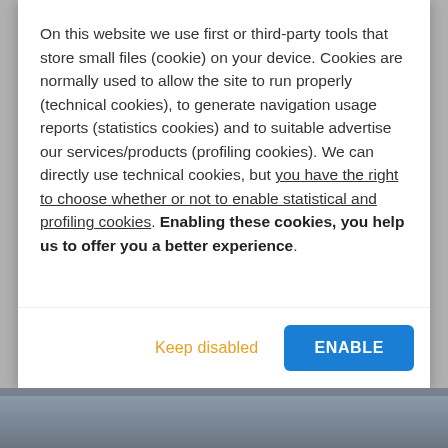On this website we use first or third-party tools that store small files (cookie) on your device. Cookies are normally used to allow the site to run properly (technical cookies), to generate navigation usage reports (statistics cookies) and to suitable advertise our services/products (profiling cookies). We can directly use technical cookies, but you have the right to choose whether or not to enable statistical and profiling cookies. Enabling these cookies, you help us to offer you a better experience.
Keep disabled
ENABLE